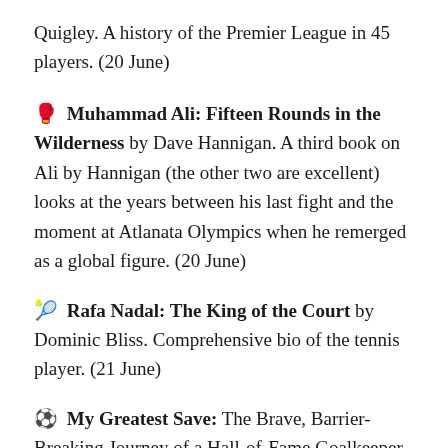Quigley. A history of the Premier League in 45 players. (20 June)
🥊 Muhammad Ali: Fifteen Rounds in the Wilderness by Dave Hannigan. A third book on Ali by Hannigan (the other two are excellent) looks at the years between his last fight and the moment at Atlanata Olympics when he remerged as a global figure. (20 June)
🎾 Rafa Nadal: The King of the Court by Dominic Bliss. Comprehensive bio of the tennis player. (21 June)
⚽ My Greatest Save: The Brave, Barrier-Breaking Journey of a Hall-of-Fame Goalkeeper by Briana Scurry. Autobiography from the goalie on the first great US... (21 June)